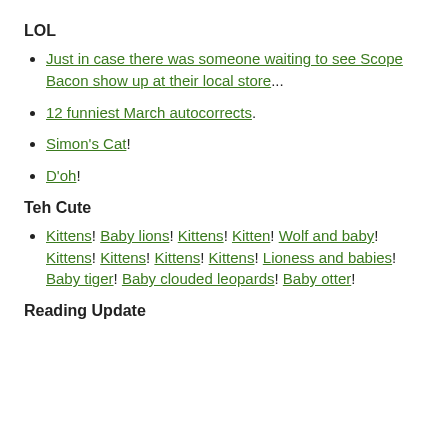LOL
Just in case there was someone waiting to see Scope Bacon show up at their local store...
12 funniest March autocorrects.
Simon's Cat!
D'oh!
Teh Cute
Kittens! Baby lions! Kittens! Kitten! Wolf and baby! Kittens! Kittens! Kittens! Kittens! Lioness and babies! Baby tiger! Baby clouded leopards! Baby otter!
Reading Update